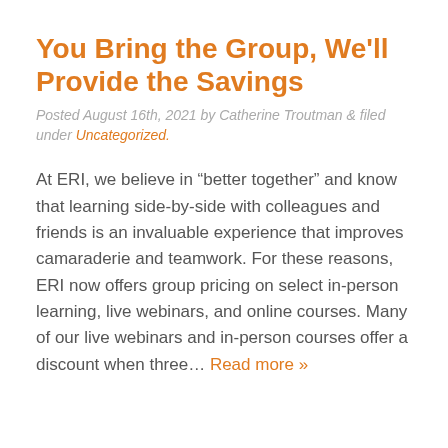You Bring the Group, We'll Provide the Savings
Posted August 16th, 2021 by Catherine Troutman & filed under Uncategorized.
At ERI, we believe in “better together” and know that learning side-by-side with colleagues and friends is an invaluable experience that improves camaraderie and teamwork. For these reasons, ERI now offers group pricing on select in-person learning, live webinars, and online courses. Many of our live webinars and in-person courses offer a discount when three… Read more »